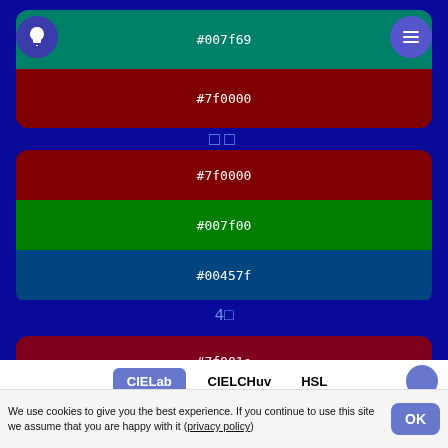[Figure (screenshot): Color palette app screenshot showing color swatches with hex codes #007f69, #7f0000 in top card; icons row; #7f0000, #007f00, #00457f in middle card; label '4□'; #7f001e, #007f00, #007f69 in bottom card]
#007f69
#7f0000
□□
#7f0000
#007f00
#00457f
4□
#7f001e
#007f00
#007f69
CIELab   CIELCHuv   HSL
We use cookies to give you the best experience. If you continue to use this site we assume that you are happy with it (privacy policy)